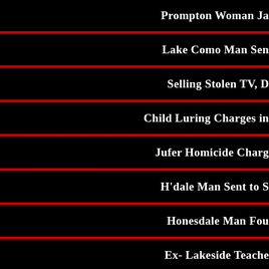Prompton Woman Ja…
Lake Como Man Sen…
Selling Stolen TV, D…
Child Luring Charges in…
Jufer Homicide Charg…
H'dale Man Sent to S…
Honesdale Man Fou…
Ex- Lakeside Teache…